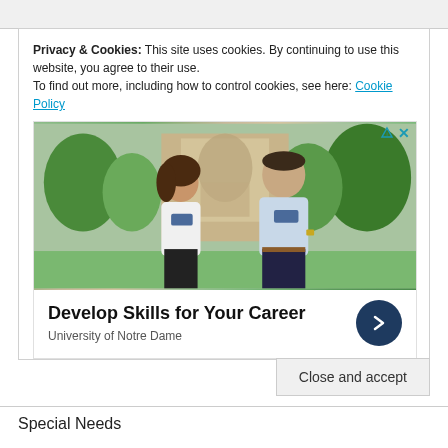Privacy & Cookies: This site uses cookies. By continuing to use this website, you agree to their use.
To find out more, including how to control cookies, see here: Cookie Policy
[Figure (photo): Advertisement photo showing two people (a woman with curly hair and glasses wearing a white t-shirt, and a man in a light blue shirt) walking outdoors on a campus with a mosaic mural building and trees in the background. Below the photo: 'Develop Skills for Your Career' headline with University of Notre Dame subtext and a dark blue arrow button.]
Close and accept
Special Needs